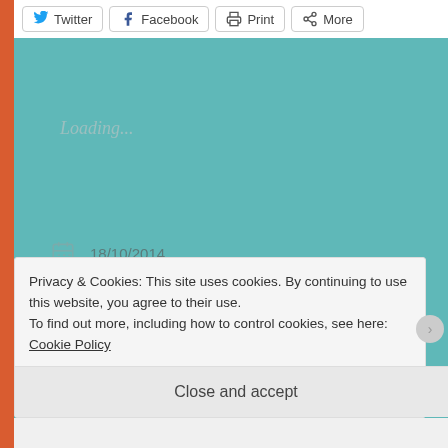[Figure (screenshot): Share buttons row: Twitter, Facebook, Print, More]
Loading...
18/10/2014
DAMIAN@8WDEE.COM
#BEETHOVEN, #MAN, #TEARS, #WOMAN, FIRE, MUSIC
Privacy & Cookies: This site uses cookies. By continuing to use this website, you agree to their use.
To find out more, including how to control cookies, see here: Cookie Policy
Close and accept